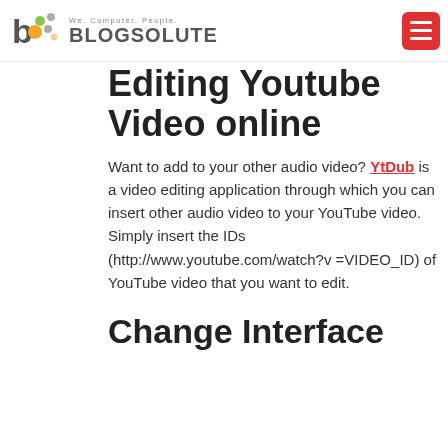Blogsolute — We. Computer. People.
Editing Youtube Video online
Want to add to your other audio video? YtDub is a video editing application through which you can insert other audio video to your YouTube video. Simply insert the IDs (http://www.youtube.com/watch?v =VIDEO_ID) of YouTube video that you want to edit.
Change Interface of Youtube